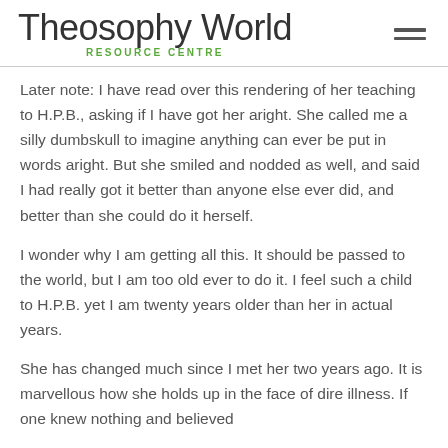Theosophy World RESOURCE CENTRE
Later note: I have read over this rendering of her teaching to H.P.B., asking if I have got her aright. She called me a silly dumbskull to imagine anything can ever be put in words aright. But she smiled and nodded as well, and said I had really got it better than anyone else ever did, and better than she could do it herself.
I wonder why I am getting all this. It should be passed to the world, but I am too old ever to do it. I feel such a child to H.P.B. yet I am twenty years older than her in actual years.
She has changed much since I met her two years ago. It is marvellous how she holds up in the face of dire illness. If one knew nothing and believed